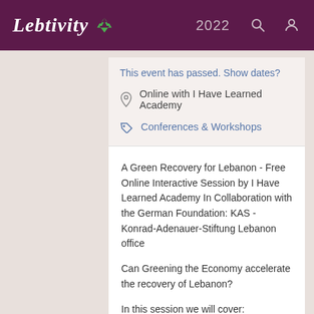Lebtivity 2022
This event has passed. Show dates?
Online with I Have Learned Academy
Conferences & Workshops
A Green Recovery for Lebanon - Free Online Interactive Session by I Have Learned Academy In Collaboration with the German Foundation: KAS - Konrad-Adenauer-Stiftung Lebanon office
Can Greening the Economy accelerate the recovery of Lebanon?
In this session we will cover:
What is Green Recovery and why is it important for Lebanon: